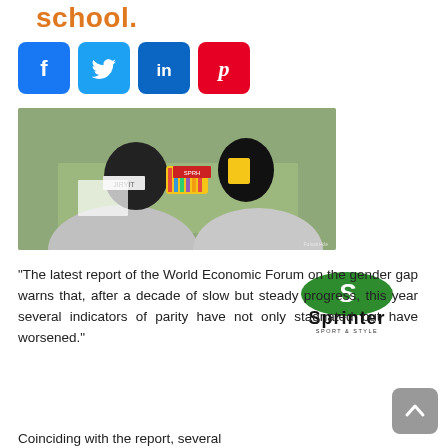school.
[Figure (logo): Row of four social media share icons: Facebook (blue), Twitter (light blue), LinkedIn (dark blue), Pinterest (red)]
[Figure (photo): Two children seen from above sitting at a green table, drawing or writing. A yellow box of crayons/colored pencils is between them.]
“The latest report of the World Economic Forum on the gender gap warns that, after a decade of slow but steady progress, this year several indicators of parity have not only stagnated but have worsened.”
[Figure (logo): Sprinter Sport & Style logo: green oval with white S, bold text Sprinter below]
Coinciding with the report, several